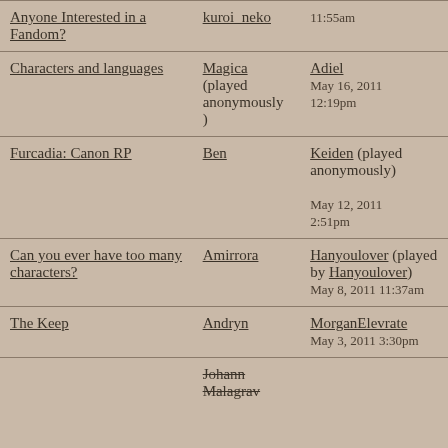| Topic | Started by | Last post |
| --- | --- | --- |
| Anyone Interested in a Fandom? | kuroi_neko | 11:55am |
| Characters and languages | Magica (played anonymously) | Adiel
May 16, 2011
12:19pm |
| Furcadia: Canon RP | Ben | Keiden (played anonymously)
May 12, 2011
2:51pm |
| Can you ever have too many characters? | Amirrora | Hanyoulover (played by Hanyoulover)
May 8, 2011 11:37am |
| The Keep | Andryn | MorganElevrate
May 3, 2011 3:30pm |
|  | Johann Malagrav |  |